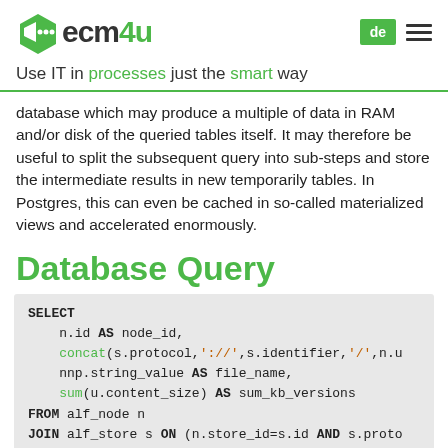ecm4u — Use IT in processes just the smart way
database which may produce a multiple of data in RAM and/or disk of the queried tables itself. It may therefore be useful to split the subsequent query into sub-steps and store the intermediate results in new temporarily tables. In Postgres, this can even be cached in so-called materialized views and accelerated enormously.
Database Query
SELECT
    n.id AS node_id,
    concat(s.protocol,'://',s.identifier,'/',n.u
    nnp.string_value AS file_name,
    sum(u.content_size) AS sum_kb_versions
FROM alf_node n
JOIN alf_store s ON (n.store_id=s.id AND s.proto
-- find name prop